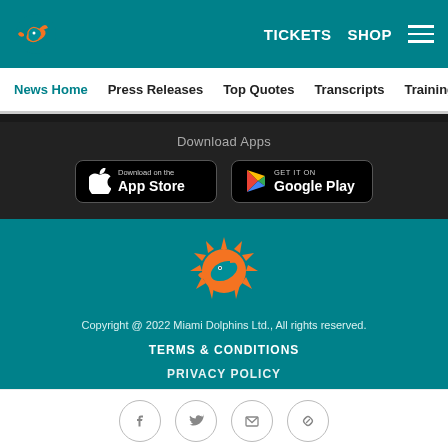Miami Dolphins header with logo, TICKETS, SHOP, and hamburger menu
News Home | Press Releases | Top Quotes | Transcripts | Training
Download Apps
[Figure (logo): Download on the App Store button]
[Figure (logo): Get it on Google Play button]
[Figure (logo): Miami Dolphins logo (large, teal footer)]
Copyright @ 2022 Miami Dolphins Ltd., All rights reserved.
TERMS & CONDITIONS
PRIVACY POLICY
Social icons: Facebook, Twitter, Email, Link